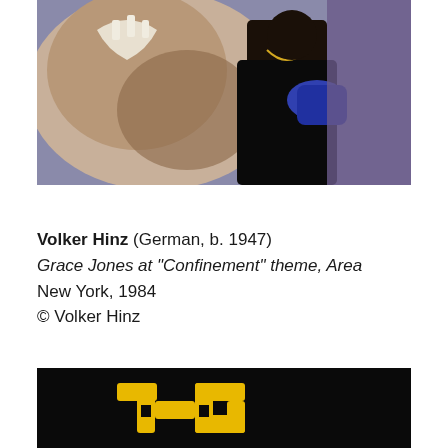[Figure (photo): Photograph of Grace Jones at the Confinement theme at Area nightclub in New York, 1984. Shows a person in black leather outfit with blue gloves interacting with a large lion or similar big cat, against a purple/blue background.]
Volker Hinz (German, b. 1947)
Grace Jones at “Confinement” theme, Area
New York, 1984
© Volker Hinz
[Figure (photo): Partial photograph showing a dark background with a yellow graphic/artwork visible at the bottom of the page.]